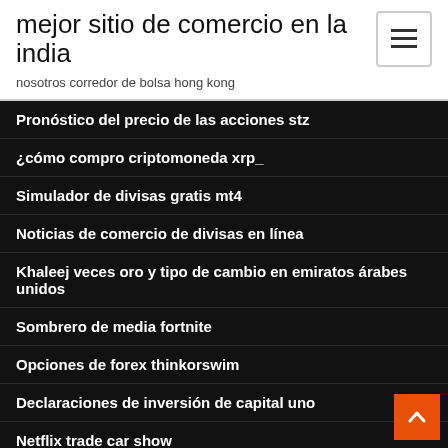mejor sitio de comercio en la india
nosotros corredor de bolsa hong kong
Pronóstico del precio de las acciones stz
¿cómo compro criptomoneda xrp_
Simulador de divisas gratis mt4
Noticias de comercio de divisas en línea
Khaleej veces oro y tipo de cambio en emiratos árabes unidos
Sombrero de media fortnite
Opciones de forex thinkorswim
Declaraciones de inversión de capital uno
Netflix trade car show
Titulador bluefx